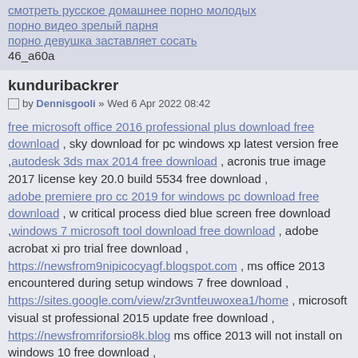смотреть русское домашнее порно молодых
порно видео зрелый парня
порно девушка заставляет сосать
46_a60a
kunduribackrer
by Dennisgooli » Wed 6 Apr 2022 08:42
free microsoft office 2016 professional plus download free download , sky download for pc windows xp latest version free , autodesk 3ds max 2014 free download , acronis true image 2017 license key 20.0 build 5534 free download , adobe premiere pro cc 2019 for windows pc download free download , w critical process died blue screen free download , windows 7 microsoft tool download free download , adobe acrobat xi pro trial free download , https://newsfrom9nipicocyagf.blogspot.com , ms office 2013 encountered during setup windows 7 free download , https://sites.google.com/view/zr3vntfeuwoxea1/home , microsoft visual st professional 2015 update free download , https://newsfromriforsio8k.blog ms office 2013 will not install on windows 10 free download , https://newsfrom4niafissigpe38.blogspot.com , ebay windows 7 professio download , https://newsfrom867rucecapde5j.blogspot ... 2-bit.html , activa smart security 5 para siempre free download , https://newsfrom61migturdoyuis.blogspot ... -post.html , free download of thomas for windows xp free